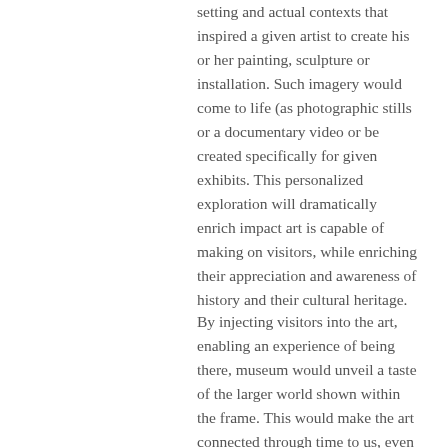setting and actual contexts that inspired a given artist to create his or her painting, sculpture or installation. Such imagery would come to life (as photographic stills or a documentary video or be created specifically for given exhibits. This personalized exploration will dramatically enrich impact art is capable of making on visitors, while enriching their appreciation and awareness of history and their cultural heritage.
By injecting visitors into the art, enabling an experience of being there, museum would unveil a taste of the larger world shown within the frame. This would make the art connected through time to us, even centuries or millenniums later. It would